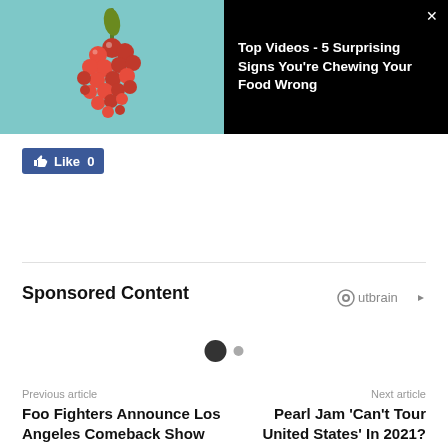[Figure (screenshot): Video banner with thumbnail image of red berry cluster on teal background and black text area showing 'Top Videos - 5 Surprising Signs You're Chewing Your Food Wrong' with X close button]
[Figure (other): Facebook Like button showing 'Like 0']
Sponsored Content
[Figure (other): Outbrain logo]
[Figure (other): Carousel dots: one large dark dot and one smaller grey dot]
Previous article
Foo Fighters Announce Los Angeles Comeback Show
Next article
Pearl Jam 'Can't Tour United States' In 2021?